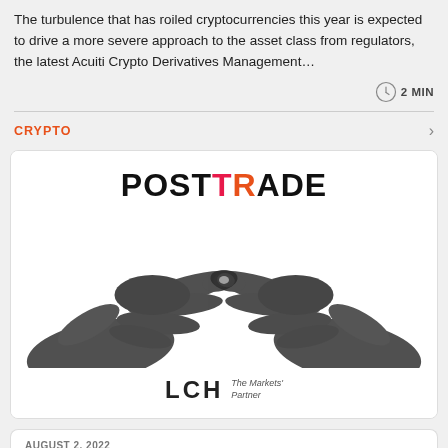The turbulence that has roiled cryptocurrencies this year is expected to drive a more severe approach to the asset class from regulators, the latest Acuiti Crypto Derivatives Management…
2 MIN
CRYPTO
[Figure (logo): POSTTRADE logo in large bold text with T in pink/red and R in orange, above two hands reaching toward each other (black and white photograph), below is LCH The Markets' Partner logo]
AUGUST 2, 2022
POSTTRADE and LCH collaborate to ensure availability...